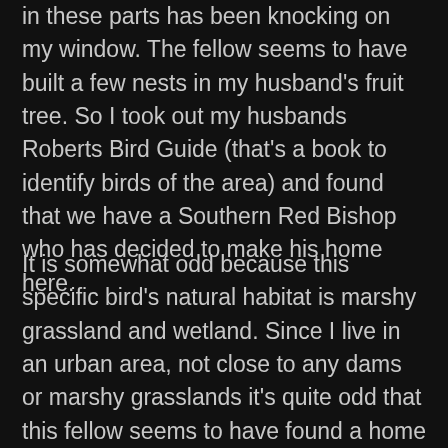in these parts has been knocking on my window. The fellow seems to have built a few nests in my husband's fruit tree. So I took out my husbands Roberts Bird Guide (that's a book to identify birds of the area) and found that we have a Southern Red Bishop who has decided to make his home here.
It is somewhat odd because this specific bird's natural habitat is marshy grassland and wetland. Since I live in an urban area, not close to any dams or marshy grasslands it's quite odd that this fellow seems to have found a home here.